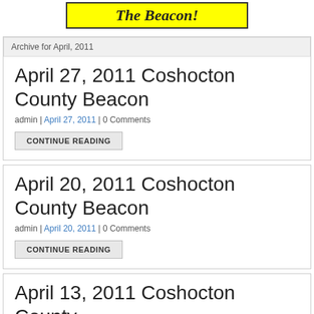The Beacon!
Archive for April, 2011
April 27, 2011 Coshocton County Beacon
admin | April 27, 2011 | 0 Comments
CONTINUE READING
April 20, 2011 Coshocton County Beacon
admin | April 20, 2011 | 0 Comments
CONTINUE READING
April 13, 2011 Coshocton County